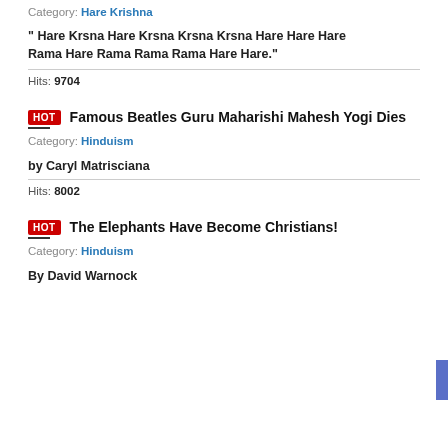Category: Hare Krishna
" Hare Krsna Hare Krsna Krsna Krsna Hare Hare Hare Rama Hare Rama Rama Rama Hare Hare."
Hits: 9704
HOT Famous Beatles Guru Maharishi Mahesh Yogi Dies
Category: Hinduism
by Caryl Matrisciana
Hits: 8002
HOT The Elephants Have Become Christians!
Category: Hinduism
By David Warnock